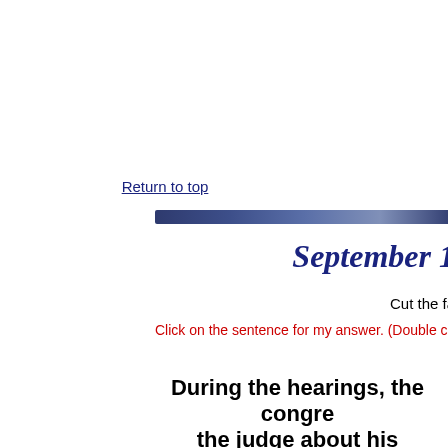Return to top
September 1
Cut the fa
Click on the sentence for my answer. (Double click to
During the hearings, the congre the judge about his